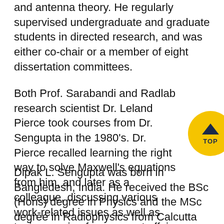and antenna theory. He regularly supervised undergraduate and graduate students in directed research, and was either co-chair or a member of eight dissertation committees.
Both Prof. Sarabandi and Radlab research scientist Dr. Leland Pierce took courses from Dr. Sengupta in the 1980's. Dr. Pierce recalled learning the right way to solve Maxwell's equations from him, and later as a colleague, discussing various work-related issues as well as topics ranging from current affairs to world cup soccer.
Dipak L. Sengupta was born in Bangledesh, India. He received the BSc (Hons) degree in Physics and the MSc degree in Radiophysics from Calcutta University, India, in 1950 and 1952 respectively,